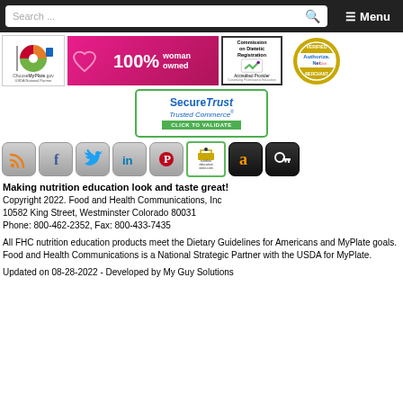Search ... ☰ Menu
[Figure (logo): Row of badges: ChooseMyPlate USDA National Partner, 100% woman owned pink banner, Commission on Dietetic Registration Accredited Provider, Authorize.Net Verified Merchant]
[Figure (logo): SecureTrust Trusted Commerce - Click to Validate badge]
[Figure (logo): Row of social media icons: RSS, Facebook, Twitter, LinkedIn, Pinterest, NutritionEducationStore.com, Amazon, Key/Login]
Making nutrition education look and taste great!
Copyright 2022. Food and Health Communications, Inc
10582 King Street, Westminster Colorado 80031
Phone: 800-462-2352, Fax: 800-433-7435
All FHC nutrition education products meet the Dietary Guidelines for Americans and MyPlate goals. Food and Health Communications is a National Strategic Partner with the USDA for MyPlate.
Updated on 08-28-2022 - Developed by My Guy Solutions